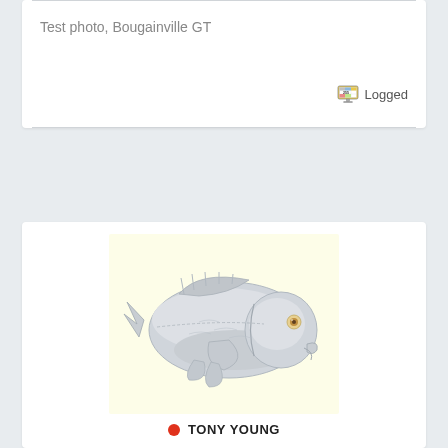Test photo, Bougainville GT
Logged
[Figure (illustration): Illustration of a silver/grey fish (GT - Giant Trevally) on a pale yellow background, facing right]
TONY YOUNG